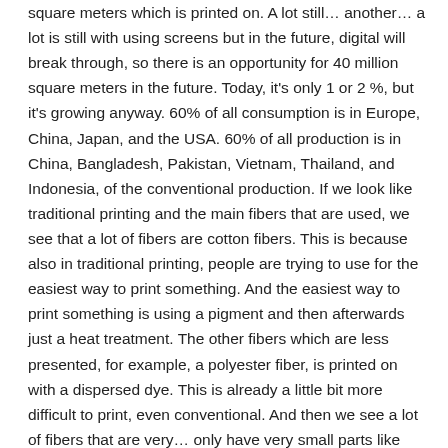square meters which is printed on. A lot still… another… a lot is still with using screens but in the future, digital will break through, so there is an opportunity for 40 million square meters in the future. Today, it's only 1 or 2 %, but it's growing anyway. 60% of all consumption is in Europe, China, Japan, and the USA. 60% of all production is in China, Bangladesh, Pakistan, Vietnam, Thailand, and Indonesia, of the conventional production. If we look like traditional printing and the main fibers that are used, we see that a lot of fibers are cotton fibers. This is because also in traditional printing, people are trying to use for the easiest way to print something. And the easiest way to print something is using a pigment and then afterwards just a heat treatment. The other fibers which are less presented, for example, a polyester fiber, is printed on with a dispersed dye. This is already a little bit more difficult to print, even conventional. And then we see a lot of fibers that are very… only have very small parts like silk, wool, nylon. This is because these fibers are different very difficult to print. You really need a lot of expertise and a lot of technique. Even using